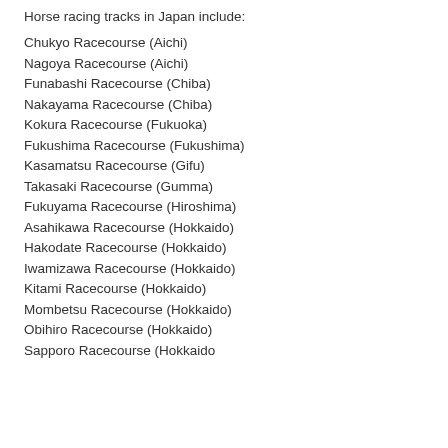Horse racing tracks in Japan include:
Chukyo Racecourse (Aichi)
Nagoya Racecourse (Aichi)
Funabashi Racecourse (Chiba)
Nakayama Racecourse (Chiba)
Kokura Racecourse (Fukuoka)
Fukushima Racecourse (Fukushima)
Kasamatsu Racecourse (Gifu)
Takasaki Racecourse (Gumma)
Fukuyama Racecourse (Hiroshima)
Asahikawa Racecourse (Hokkaido)
Hakodate Racecourse (Hokkaido)
Iwamizawa Racecourse (Hokkaido)
Kitami Racecourse (Hokkaido)
Mombetsu Racecourse (Hokkaido)
Obihiro Racecourse (Hokkaido)
Sapporo Racecourse (Hokkaido)